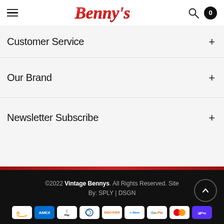Benny's — navigation header with hamburger menu, logo, search icon, cart (0)
Customer Service +
Our Brand +
Newsletter Subscribe +
©2022 Vintage Bennys. All Rights Reserved. Site By: SPLY | DSGN
[Figure (other): Payment method logos: Amazon, AMEX, Apple Pay, Diners Club, Discover, Meta Pay, Google Pay, Mastercard, ShopPay]